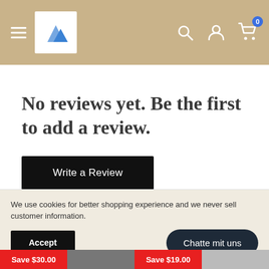Navigation header with hamburger menu, logo, search, account, and cart icons
No reviews yet. Be the first to add a review.
Write a Review
We use cookies for better shopping experience and we never sell customer information.
Accept
Chatte mit uns
Save $30.00
Save $19.00